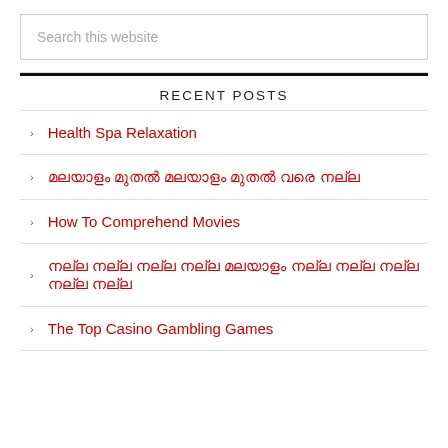Search this website
RECENT POSTS
Health Spa Relaxation
മലയാളം മുതല്‍ മലയാളം മുതല്‍ വരെ നല്ല
How To Comprehend Movies
നല്ല നല്ല നല്ല നല്ല മലയാളം നല്ല നല്ല നല്ല നല്ല നല്ല
The Top Casino Gambling Games